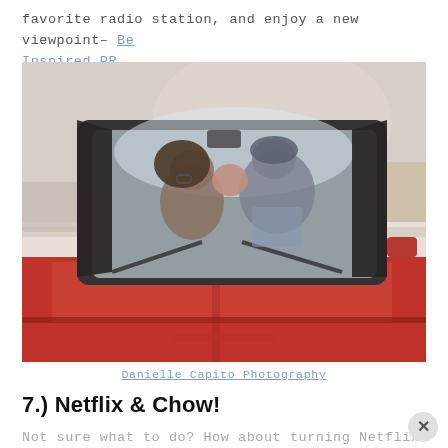favorite radio station, and enjoy a new viewpoint– Be Inspired PR
[Figure (photo): A couple kissing inside a red convertible car, viewed through the windshield. The car hood is red and prominent in the foreground. Sky and trees visible in the background.]
Danielle Capito Photography
7.) Netflix & Chow!
Not sure what to do? How about turning Netflix n